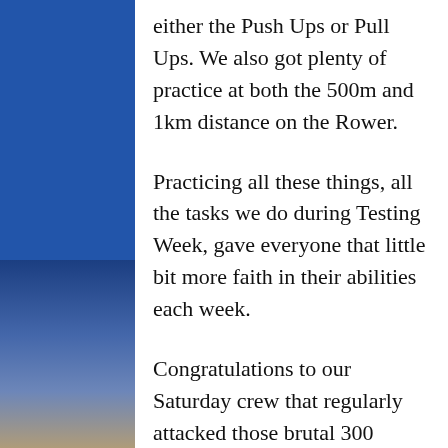either the Push Ups or Pull Ups. We also got plenty of practice at both the 500m and 1km distance on the Rower.
Practicing all these things, all the tasks we do during Testing Week, gave everyone that little bit more faith in their abilities each week.
Congratulations to our Saturday crew that regularly attacked those brutal 300 Weekend Warrior Workouts. It was was exciting to see everybody complete the 300 Reps including the Advanced crew